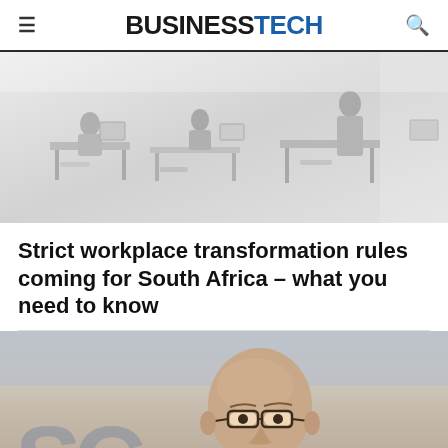BUSINESSTECH
[Figure (photo): Office workplace scene with people working at desks, greyscale/faded image]
Strict workplace transformation rules coming for South Africa – what you need to know
[Figure (photo): Close-up photo of a bald man with glasses speaking, with a blue-toned background banner]